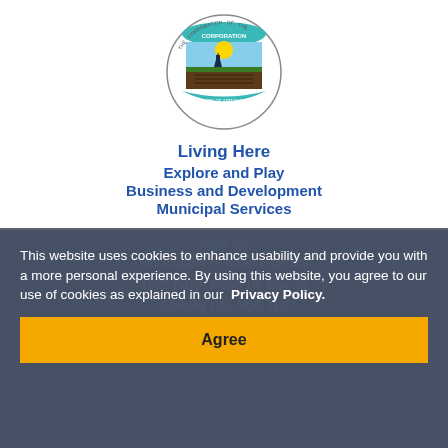[Figure (logo): Corporation of the Municipality of Arran Elderslie circular seal/crest logo with agricultural landscape, sun, and teal banner ribbon]
Living Here
Explore and Play
Business and Development
Municipal Services
Visit Us
Municipality of Arran Elderslie
1925 Bruce Road 10, Box 70
Chesley ON, N0G 1L0
Contact Us
This website uses cookies to enhance usability and provide you with a more personal experience. By using this website, you agree to our use of cookies as explained in our Privacy Policy.
Agree
Phone: 519-363-3039